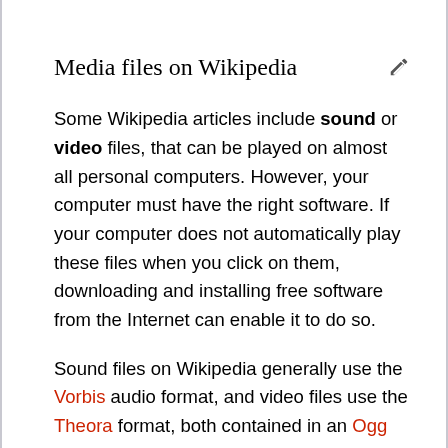Media files on Wikipedia
Some Wikipedia articles include sound or video files, that can be played on almost all personal computers. However, your computer must have the right software. If your computer does not automatically play these files when you click on them, downloading and installing free software from the Internet can enable it to do so.
Sound files on Wikipedia generally use the Vorbis audio format, and video files use the Theora format, both contained in an Ogg file. These are analogous to other formats used to play digital audio and video such as MP3 and MPEG. However, Microsoft